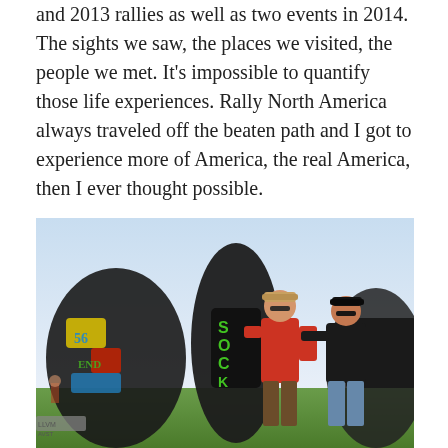and 2013 rallies as well as two events in 2014. The sights we saw, the places we visited, the people we met. It's impossible to quantify those life experiences. Rally North America always traveled off the beaten path and I got to experience more of America, the real America, then I ever thought possible.
[Figure (photo): Two men standing in front of large graffiti-covered sculptures (Cadillac Ranch) on a sunny day. The man on the left wears a red shirt and sunglasses with a tan cap; the man on the right wears a black shirt and black cap.]